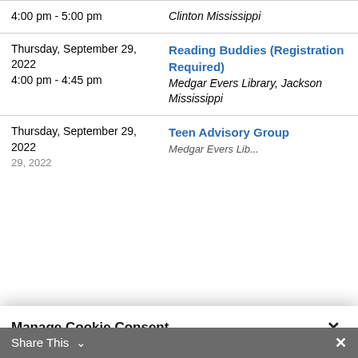| Date/Time | Event |
| --- | --- |
| 4:00 pm - 5:00 pm | Clinton Mississippi |
| Thursday, September 29, 2022
4:00 pm - 4:45 pm | Reading Buddies (Registration Required)
Medgar Evers Library, Jackson Mississippi |
| Thursday, September 29, 2022 | Teen Advisory Group
Medgar Evers ... |
Manage Cookie Consent
To provide the best experiences, we use technologies like cookies to store and/or access device information. Consenting to these technologies will allow us to process data such as browsing behavior or unique IDs on this site. Not consenting or withdrawing consent, may adversely affect certain features and functions.
Accept
Share This ∨  ×